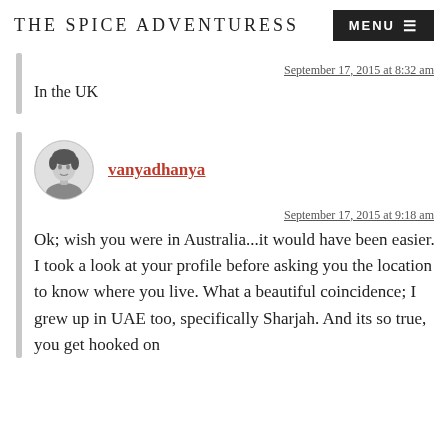THE SPICE ADVENTURESS | MENU
September 17, 2015 at 8:32 am
In the UK
vanyadhanya
September 17, 2015 at 9:18 am
Ok; wish you were in Australia...it would have been easier. I took a look at your profile before asking you the location to know where you live. What a beautiful coincidence; I grew up in UAE too, specifically Sharjah. And its so true, you get hooked on